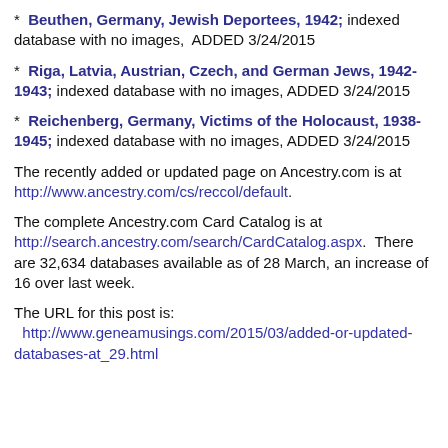* Beuthen, Germany, Jewish Deportees, 1942; indexed database with no images,  ADDED 3/24/2015
* Riga, Latvia, Austrian, Czech, and German Jews, 1942-1943; indexed database with no images, ADDED 3/24/2015
* Reichenberg, Germany, Victims of the Holocaust, 1938-1945; indexed database with no images, ADDED 3/24/2015
The recently added or updated page on Ancestry.com is at http://www.ancestry.com/cs/reccol/default.
The complete Ancestry.com Card Catalog is at http://search.ancestry.com/search/CardCatalog.aspx.  There are 32,634 databases available as of 28 March, an increase of 16 over last week.
The URL for this post is: http://www.geneamusings.com/2015/03/added-or-updated-databases-at_29.html